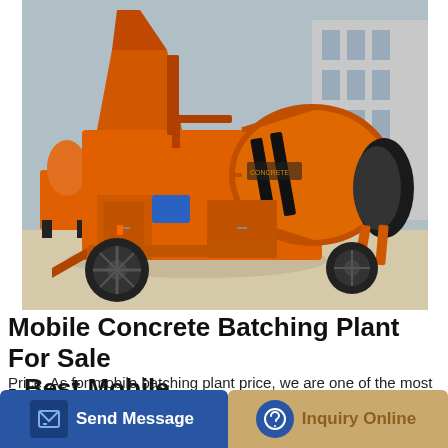[Figure (photo): Orange mobile concrete batching plant / mixer machine on wheels, photographed outdoors in an industrial yard. The machine is large, orange-painted, with a rotating drum, hopper, and rubber tires. Additional orange mixers visible in the background.]
Mobile Concrete Batching Plant For Sale - Best Mobile
Price. As for mobile batching plant price, we are one of the most professional mobile concrete batching plant manufacturers, we are responsible for design, production, assemble, test run before shipment of Mobile Concrete Batching Plant For Sale, the whole process will save you a lot of cost, therefore, you will get an affordable mini mobile